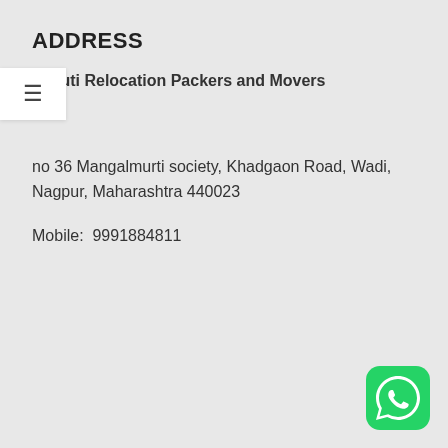ADDRESS
Maruti Relocation Packers and Movers
no 36 Mangalmurti society, Khadgaon Road, Wadi, Nagpur, Maharashtra 440023
Mobile:  9991884811
[Figure (logo): WhatsApp green rounded square icon with white phone handset in speech bubble]